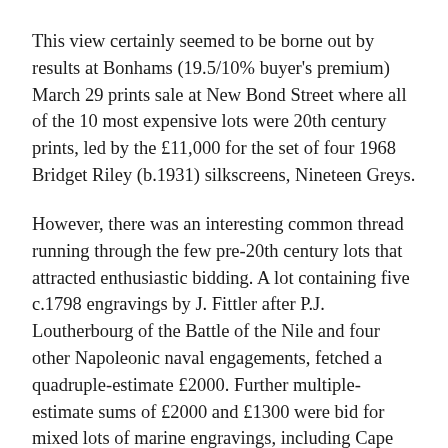This view certainly seemed to be borne out by results at Bonhams (19.5/10% buyer's premium) March 29 prints sale at New Bond Street where all of the 10 most expensive lots were 20th century prints, led by the £11,000 for the set of four 1968 Bridget Riley (b.1931) silkscreens, Nineteen Greys.
However, there was an interesting common thread running through the few pre-20th century lots that attracted enthusiastic bidding. A lot containing five c.1798 engravings by J. Fittler after P.J. Loutherbourg of the Battle of the Nile and four other Napoleonic naval engagements, fetched a quadruple-estimate £2000. Further multiple-estimate sums of £2000 and £1300 were bid for mixed lots of marine engravings, including Cape Trafalgar.
Given that 2005 will be the second centenary of the death of Viscount Horatio Nelson, these prices may